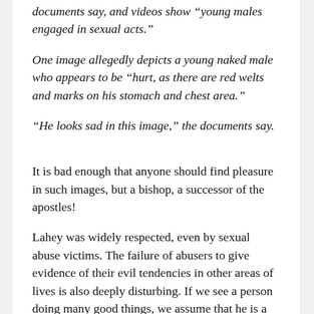documents say, and videos show “young males engaged in sexual acts.”
One image allegedly depicts a young naked male who appears to be “hurt, as there are red welts and marks on his stomach and chest area.”
“He looks sad in this image,” the documents say.
It is bad enough that anyone should find pleasure in such images, but a bishop, a successor of the apostles!
Lahey was widely respected, even by sexual abuse victims. The failure of abusers to give evidence of their evil tendencies in other areas of lives is also deeply disturbing. If we see a person doing many good things, we assume that he is a good person – perhaps not without faults, but not concealing abominable evil either. But that assumption is